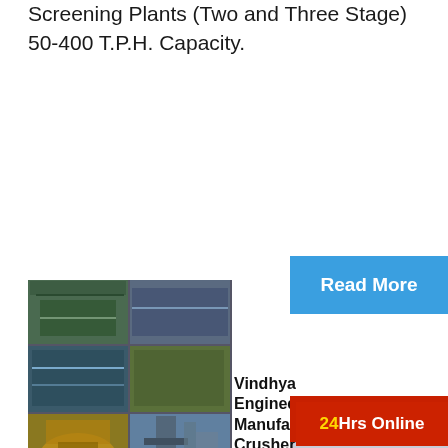Screening Plants (Two and Three Stage) 50-400 T.P.H. Capacity.
[Figure (photo): Collage of industrial mining/crushing machinery and conveyor belt equipment]
Read More
24Hrs Online
Vindhya Engineering Manufacturer Crusher
Incepted in 2... "Vindhyachal Trading Co." are leading co... in manufacturing and supplying highly rel... of Conveyor Belt, Jaw Crusher, Stone Cr... many more. These items are generally re... requested because of their dimensional p... plan, vigor, solidness, unwavering quality... imperviousness to consumption.
Need questions & suggestion?
Chat Now
Enquire